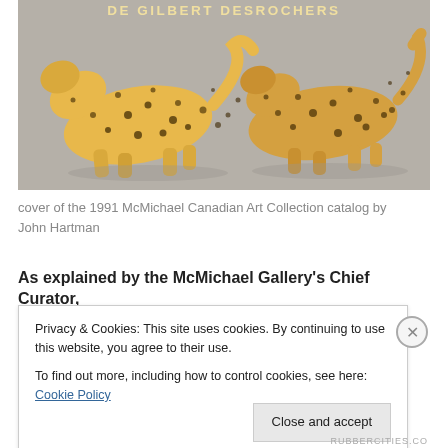[Figure (photo): Photograph of two yellow spotted cheetah/leopard figurines against a grey background, with text 'DE GILBERT DESROCHERS' at the top in pale gold letters. Part of a 1991 McMichael Canadian Art Collection catalog cover.]
cover of the 1991 McMichael Canadian Art Collection catalog by John Hartman
As explained by the McMichael Gallery's Chief Curator,
Privacy & Cookies: This site uses cookies. By continuing to use this website, you agree to their use.
To find out more, including how to control cookies, see here: Cookie Policy